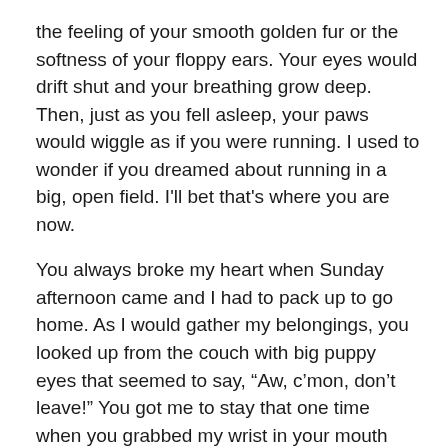the feeling of your smooth golden fur or the softness of your floppy ears. Your eyes would drift shut and your breathing grow deep. Then, just as you fell asleep, your paws would wiggle as if you were running. I used to wonder if you dreamed about running in a big, open field. I'll bet that's where you are now.
You always broke my heart when Sunday afternoon came and I had to pack up to go home. As I would gather my belongings, you looked up from the couch with big puppy eyes that seemed to say, “Aw, c’mon, don’t leave!” You got me to stay that one time when you grabbed my wrist in your mouth and pulled me back in the door.
Now that you’re gone, I wish I had stayed more back then.
Every time I called home, I got a sense of security and